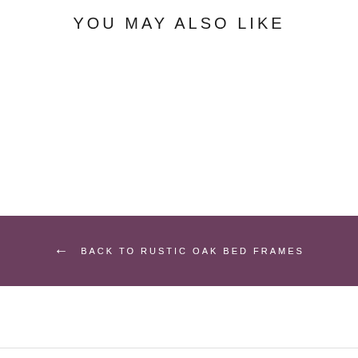YOU MAY ALSO LIKE
← BACK TO RUSTIC OAK BED FRAMES